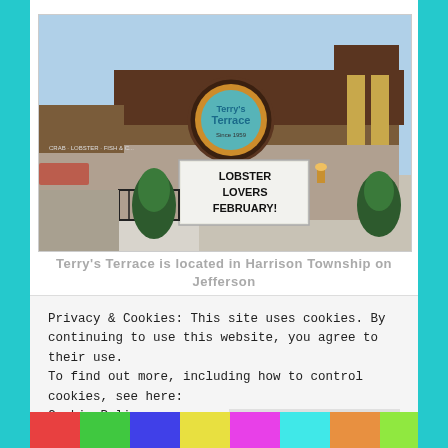[Figure (photo): Exterior photo of Terry's Terrace restaurant in Harrison Township. Brown building facade with circular 'Terry's Terrace Since 1959' sign, marquee sign reading 'LOBSTER LOVERS FEBRUARY!', black iron fence, evergreen shrubs, gold vertical accent strips, winter scene.]
Terry's Terrace is located in Harrison Township on Jefferson
Privacy & Cookies: This site uses cookies. By continuing to use this website, you agree to their use.
To find out more, including how to control cookies, see here: Cookie Policy
Close and accept